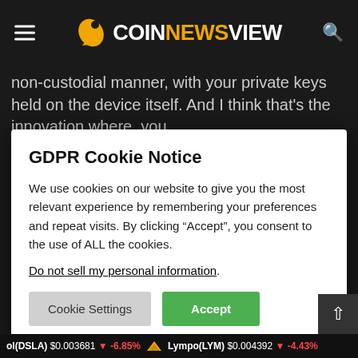COINNEWSVIEW
non-custodial manner, with your private keys held on the device itself. And I think that's the innovation where, you
GDPR Cookie Notice
We use cookies on our website to give you the most relevant experience by remembering your preferences and repeat visits. By clicking “Accept”, you consent to the use of ALL the cookies.
Do not sell my personal information.
Cookie Settings   Accept
One key thing people may notice in the setup of a Zion account is that there’s a checkout function, requiring a credit card, which does mean that you’re paying fo
ol(DSLA) $0.003681 | -6.85%   Lympo(LYM) $0.004392 | -4.43%